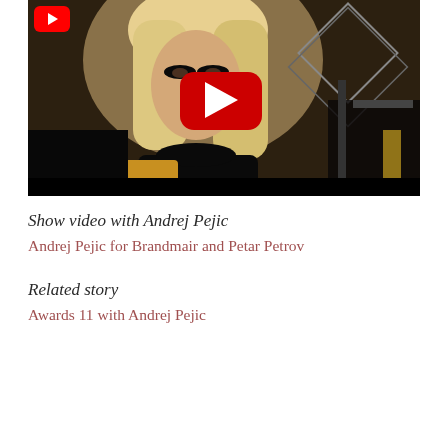[Figure (screenshot): YouTube video thumbnail showing a person with long blonde hair and dark eye makeup wearing a black turtleneck, with a red YouTube play button overlay in the center and a YouTube logo in the top-left corner. The background shows a room with geometric framing elements on the right side. A black bar runs along the bottom of the video frame.]
Show video with Andrej Pejic
Andrej Pejic for Brandmair and Petar Petrov
Related story
Awards 11 with Andrej Pejic